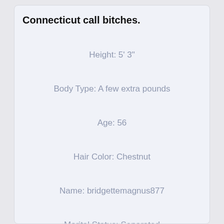Connecticut call bitches.
Height: 5' 3"
Body Type: A few extra pounds
Age: 56
Hair Color: Chestnut
Name: bridgettemagnus877
Marital Status: Separated